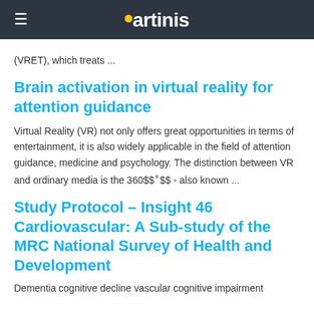artinis
(VRET), which treats ...
Brain activation in virtual reality for attention guidance
Virtual Reality (VR) not only offers great opportunities in terms of entertainment, it is also widely applicable in the field of attention guidance, medicine and psychology. The distinction between VR and ordinary media is the 360$$^∘$$ - also known ...
Study Protocol – Insight 46 Cardiovascular: A Sub-study of the MRC National Survey of Health and Development
Dementia cognitive decline vascular cognitive impairment